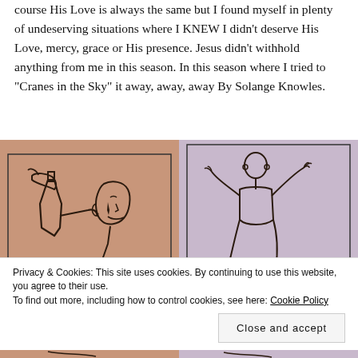course His Love is always the same but I found myself in plenty of undeserving situations where I KNEW I didn't deserve His Love, mercy, grace or His presence. Jesus didn't withhold anything from me in this season. In this season where I tried to “Cranes in the Sky” it away, away, away By Solange Knowles.
[Figure (illustration): Two line-art illustrations side by side: left panel on a dusty rose background shows a person drinking from a bottle; right panel on a lavender background shows a person with arms raised, depicted in minimalist line art style.]
Privacy & Cookies: This site uses cookies. By continuing to use this website, you agree to their use.
To find out more, including how to control cookies, see here: Cookie Policy
Close and accept